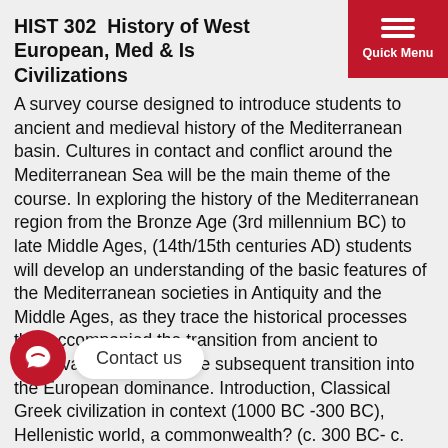HIST 302  History of West European, Med & Islamic Civilizations
A survey course designed to introduce students to ancient and medieval history of the Mediterranean basin. Cultures in contact and conflict around the Mediterranean Sea will be the main theme of the course. In exploring the history of the Mediterranean region from the Bronze Age (3rd millennium BC) to late Middle Ages, (14th/15th centuries AD) students will develop an understanding of the basic features of the Mediterranean societies in Antiquity and the Middle Ages, as they trace the historical processes that accompanied the transition from ancient to medieval society, and the subsequent transition into the European dominance. Introduction, Classical Greek civilization in context (1000 BC -300 BC), Hellenistic world, a commonwealth? (c. 300 BC- c. 100 BC); cultural interaction, The Roman peace  (c. 100 BC- c. 300 AD); Cities, roads, and boats, Late antiquity: State's power and crisis (c. 300 AD – c. 600 AD); "There is God but one", polytheism and Christianities, Rulers and masses, a lecture on divine kingship, The emergence of sibling cultures, The emergence of